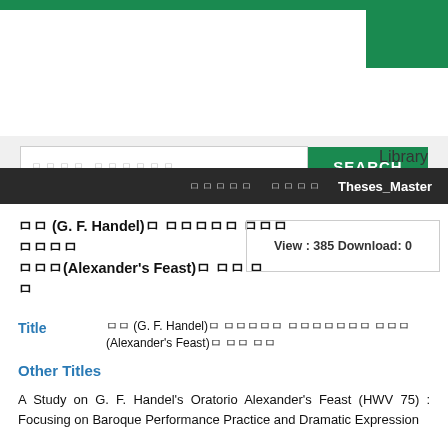Library
ㅁㅁㅁㅁㅁ ㅁㅁㅁㅁ Theses_Master
ㅁㅁ (G. F. Handel)ㅁ ㅁㅁㅁㅁㅁ ㅁㅁㅁㅁㅁㅁㅁ ㅁㅁㅁ(Alexander's Feast)ㅁ ㅁㅁ ㅁㅁ
View : 385 Download: 0
Title  ㅁㅁ (G. F. Handel)ㅁ ㅁㅁㅁㅁㅁ ㅁㅁㅁㅁㅁㅁㅁ ㅁㅁㅁ(Alexander's Feast)ㅁ ㅁㅁ ㅁㅁ
Other Titles
A Study on G. F. Handel's Oratorio Alexander's Feast (HWV 75) : Focusing on Baroque Performance Practice and Dramatic Expression